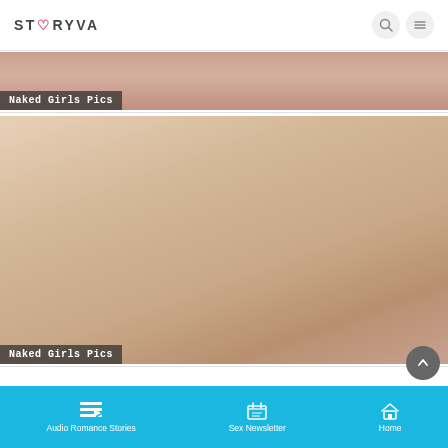STORYVA
[Figure (photo): Cropped photo with 'Naked Girls Pics' label overlay at bottom left]
[Figure (photo): Close-up photo with 'Naked Girls Pics' label overlay at bottom left]
Audio Romance Stories | Sex Newsletter | Home